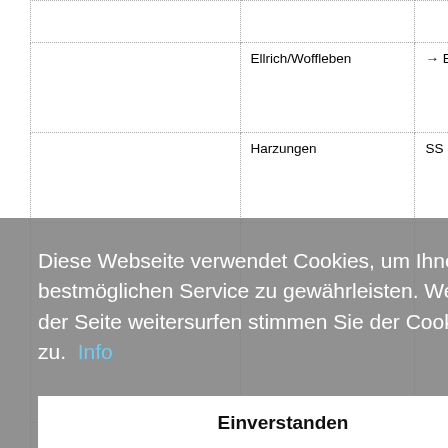|  | Ellrich/Woffleben | → Ellrich → W... |
| --- | --- | --- |
|  | Harzungen | SS name: Har... |
|  | Ilfeld | Ilfeld |
Diese Webseite verwendet Cookies, um Ihnen den bestmöglichen Service zu gewährleisten. Wenn Sie auf der Seite weitersurfen stimmen Sie der Cookie-Nutzung zu.  Info
Einverstanden